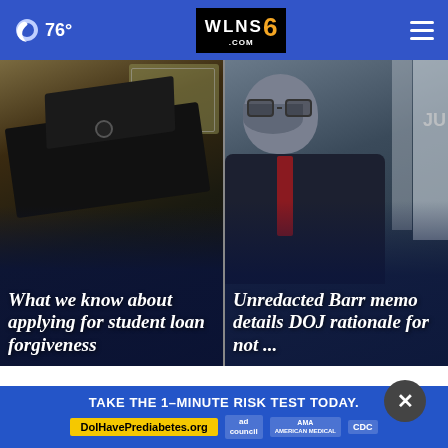🌙 76° | WLNS 6 .COM | ☰
[Figure (photo): News card 1: Graduation cap on money background with headline 'What we know about applying for student loan forgiveness']
What we know about applying for student loan forgiveness
[Figure (photo): News card 2: Man (William Barr) with headline 'Unredacted Barr memo details DOJ rationale for not ...']
Unredacted Barr memo details DOJ rationale for not ...
Top Stories ›
[Figure (other): Close (X) button overlay]
TAKE THE 1-MINUTE RISK TEST TODAY. DolHavePrediabetes.org | ad | AMA | CDC